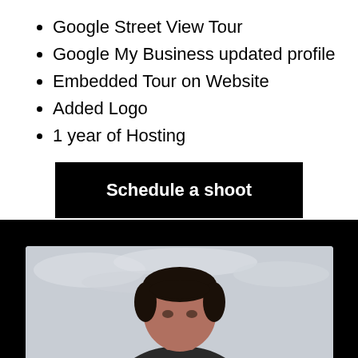Google Street View Tour
Google My Business updated profile
Embedded Tour on Website
Added Logo
1 year of Hosting
Schedule a shoot
[Figure (photo): Black background section with a person's head and shoulders photo at the bottom of the page]